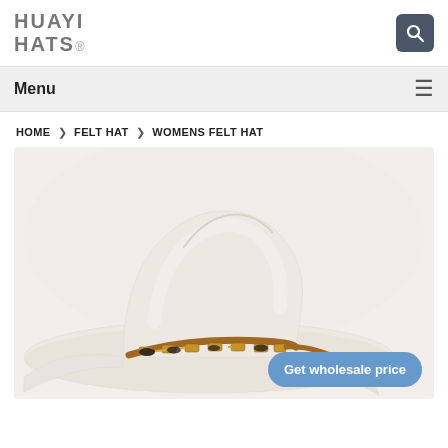HUAYI HATS
Menu
HOME > FELT HAT > WOMENS FELT HAT
[Figure (photo): White women's felt cowboy hat with decorative gold and black hatband, photographed on a neutral cream background.]
Get wholesale price